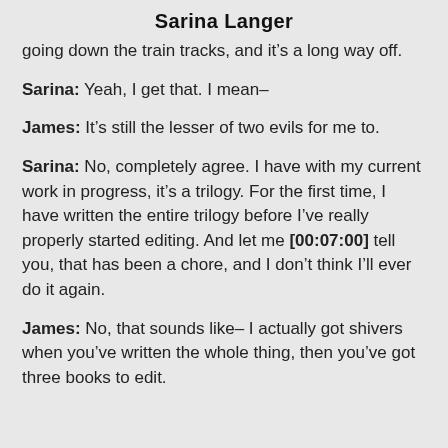Sarina Langer
going down the train tracks, and it’s a long way off.
Sarina: Yeah, I get that. I mean–
James: It’s still the lesser of two evils for me to.
Sarina: No, completely agree. I have with my current work in progress, it’s a trilogy. For the first time, I have written the entire trilogy before I’ve really properly started editing. And let me [00:07:00] tell you, that has been a chore, and I don’t think I’ll ever do it again.
James: No, that sounds like– I actually got shivers when you’ve written the whole thing, then you’ve got three books to edit.